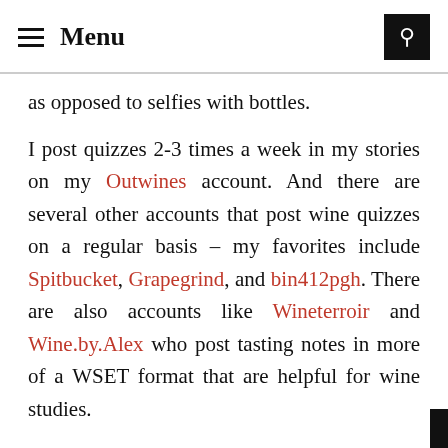≡ Menu
as opposed to selfies with bottles.
I post quizzes 2-3 times a week in my stories on my Outwines account. And there are several other accounts that post wine quizzes on a regular basis – my favorites include Spitbucket, Grapegrind, and bin412pgh. There are also accounts like Wineterroir and Wine.by.Alex who post tasting notes in more of a WSET format that are helpful for wine studies.